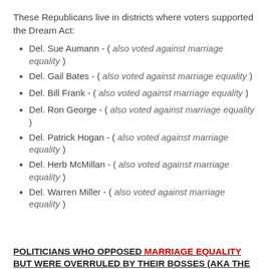These Republicans live in districts where voters supported the Dream Act:
Del. Sue Aumann - ( also voted against marriage equality )
Del. Gail Bates - ( also voted against marriage equality )
Del. Bill Frank - ( also voted against marriage equality )
Del. Ron George - ( also voted against marriage equality )
Del. Patrick Hogan - ( also voted against marriage equality )
Del. Herb McMillan - ( also voted against marriage equality )
Del. Warren Miller - ( also voted against marriage equality )
POLITICIANS WHO OPPOSED MARRIAGE EQUALITY BUT WERE OVERRULED BY THEIR BOSSES (AKA THE